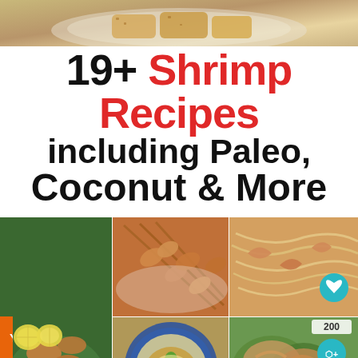[Figure (photo): Top food photo showing breaded/coated food items on a plate]
19+ Shrimp Recipes including Paleo, Coconut & More
[Figure (photo): Grid of 6 shrimp recipe photos: grilled shrimp on lettuce with lemon, shrimp skewers, shrimp pasta, seasoned shrimp close-up, shrimp on decorative plate, shrimp tacos in lettuce cups]
WHAT'S NEXT → Best Raspberry...
200 (share count)
[Figure (infographic): Teal colored ad banner with italic text starting with It's time to...]
You can help hungry kids.
NO KID HUNGRY
LEARN HOW